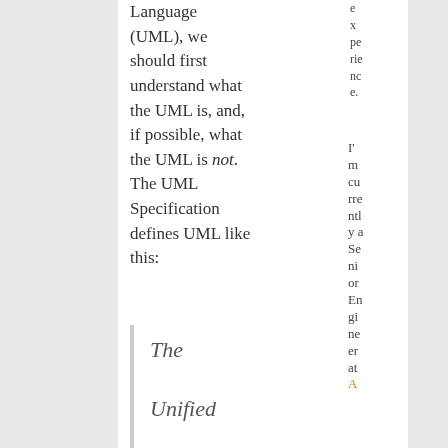Language (UML), we should first understand what the UML is, and, if possible, what the UML is not. The UML Specification defines UML like this:
The Unified Modeling
experience. I'm currently a Senior Engineer at A